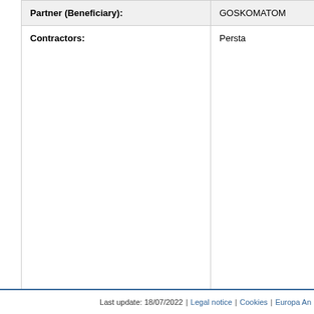|  |  |
| --- | --- |
| Partner (Beneficiary): | GOSKOMATOM |
| Contractors: | Persta |
Procure reference
Procure provisio
Procure accepta
Signatu
Effectiv
Contrac
Closure
← Go to all contracts
Last update: 18/07/2022 | Legal notice | Cookies | Europa An